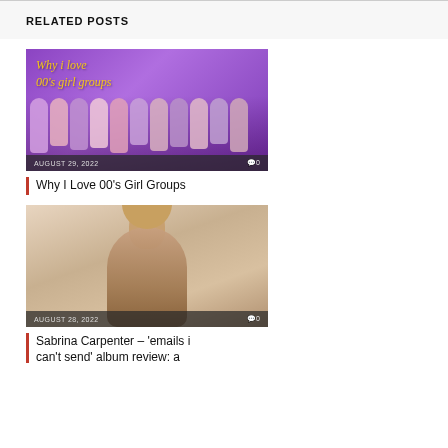RELATED POSTS
[Figure (photo): Purple background image with text 'Why i love 00's girl groups' and silhouettes of women, date AUGUST 29, 2022, comment count 0]
Why I Love 00's Girl Groups
[Figure (photo): Photo of Sabrina Carpenter in brown outfit, date AUGUST 28, 2022, comment count 0]
Sabrina Carpenter – 'emails i can't send' album review: a